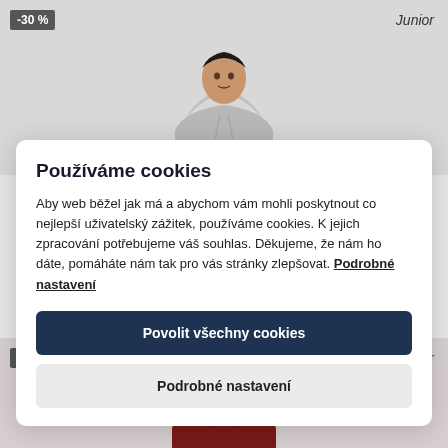[Figure (photo): Top portion of e-commerce page showing a boy wearing a grey hoodie, with a -30% discount badge and 'Junior' label]
Používáme cookies
Aby web běžel jak má a abychom vám mohli poskytnout co nejlepší uživatelský zážitek, používáme cookies. K jejich zpracování potřebujeme váš souhlas. Děkujeme, že nám ho dáte, pomáháte nám tak pro vás stránky zlepšovat. Podrobné nastavení
Povolit všechny cookies
Podrobné nastavení
[Figure (photo): Bottom portion of e-commerce page showing a boy wearing a dark red hoodie, with a -20% discount badge and 'Junior' label]